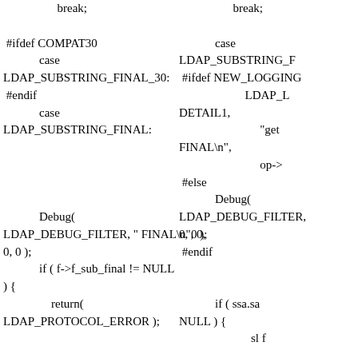Left column code: break; #ifdef COMPAT30 case LDAP_SUBSTRING_FINAL_30: #endif case LDAP_SUBSTRING_FINAL: Debug( LDAP_DEBUG_FILTER, " FINAL\n", 0, 0, 0 ); if ( f->f_sub_final != NULL ) { return( LDAP_PROTOCOL_ERROR );
Right column code: break; case LDAP_SUBSTRING_F #ifdef NEW_LOGGING LDAP_L DETAIL1, "get FINAL\n", op-> #else Debug( LDAP_DEBUG_FILTER 0, 0 ); #endif if ( ssa.sa NULL ) { sl f